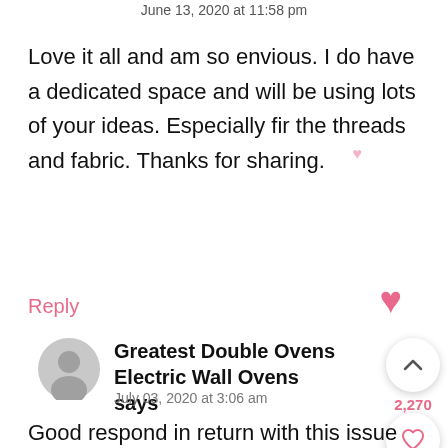June 13, 2020 at 11:58 pm
Love it all and am so envious. I do have a dedicated space and will be using lots of your ideas. Especially fir the threads and fabric. Thanks for sharing.
Reply
Greatest Double Ovens Electric Wall Ovens says
July 03, 2020 at 3:06 am
Good respond in return with this issue with real arguments and describing everything on the topic of that.
Here is my blog … Greatest Double Ovens